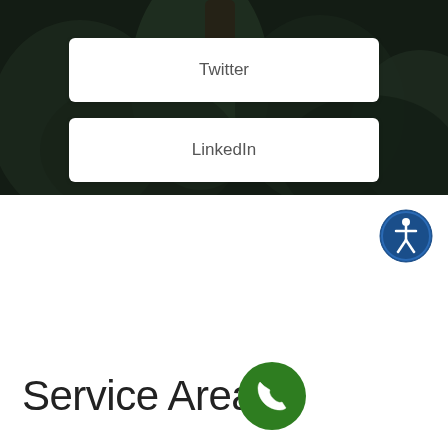[Figure (screenshot): Hero background image showing green foliage/trees with dark overlay, containing two white button cards for Twitter and LinkedIn social media links]
Twitter
LinkedIn
[Figure (illustration): Circular accessibility icon button — dark blue circle with white wheelchair/person accessibility symbol]
Service Areas
[Figure (illustration): Green circular phone/call floating action button with white phone handset icon]